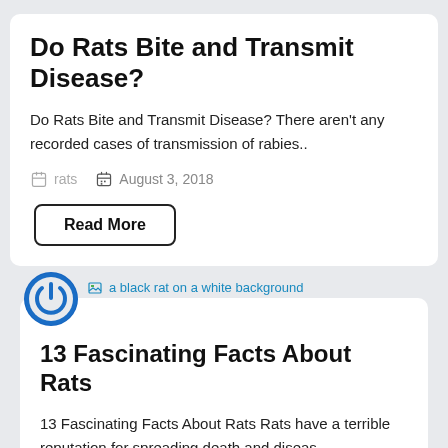Do Rats Bite and Transmit Disease?
Do Rats Bite and Transmit Disease? There aren't any recorded cases of transmission of rabies..
rats   August 3, 2018
Read More
[Figure (logo): Power/on circular logo in blue]
a black rat on a white background
13 Fascinating Facts About Rats
13 Fascinating Facts About Rats Rats have a terrible reputation for spreading death and diseas..
rats   August 2, 2018